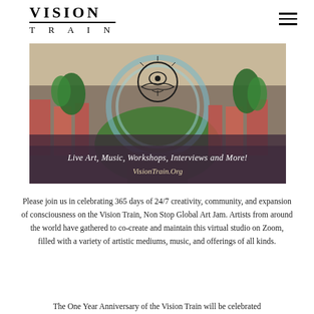VISION TRAIN
[Figure (illustration): Colorful mural artwork showing an aerial view of urban/natural landscape with a circular emblem/symbol at the top center. Overlay text reads 'Live Art, Music, Workshops, Interviews and More!' and 'VisionTrain.Org']
Please join us in celebrating 365 days of 24/7 creativity, community, and expansion of consciousness on the Vision Train, Non Stop Global Art Jam. Artists from around the world have gathered to co-create and maintain this virtual studio on Zoom, filled with a variety of artistic mediums, music, and offerings of all kinds.
The One Year Anniversary of the Vision Train will be celebrated